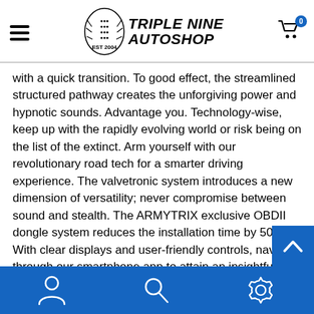Triple Nine Autoshop — EST 2004
with a quick transition. To good effect, the streamlined structured pathway creates the unforgiving power and hypnotic sounds. Advantage you. Technology-wise, keep up with the rapidly evolving world or risk being on the list of the extinct. Arm yourself with our revolutionary road tech for a smarter driving experience. The valvetronic system introduces a new dimension of versatility; never compromise between sound and stealth. The ARMYTRIX exclusive OBDII dongle system reduces the installation time by 50%! With clear displays and user-friendly controls, navigate through our smartphone app to attain an insightful look into the vehicle's real-time operational status and complete control over the valve settings. Stay Connected, Stay Ahead of the Pack. Performance-wise, deviate from the routine path; go on an adventure down the road less traveled. Let the ARMYTRIX
Navigation: User, Search, Settings